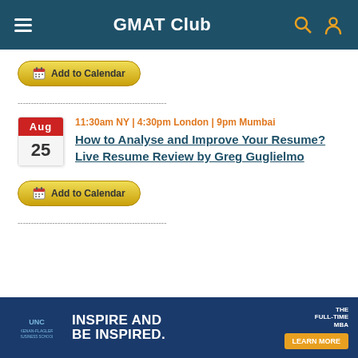GMAT Club
[Figure (other): Add to Calendar button with calendar icon]
--------------------------------------------------------
11:30am NY | 4:30pm London | 9pm Mumbai
How to Analyse and Improve Your Resume? Live Resume Review by Greg Guglielmo
[Figure (other): Add to Calendar button with calendar icon]
--------------------------------------------------------
[Figure (other): UNC Kenan-Flagler Business School advertisement banner: INSPIRE AND BE INSPIRED. THE FULL-TIME MBA. LEARN MORE.]